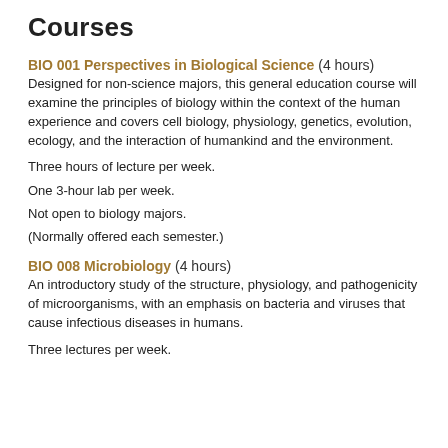Courses
BIO 001 Perspectives in Biological Science (4 hours)
Designed for non-science majors, this general education course will examine the principles of biology within the context of the human experience and covers cell biology, physiology, genetics, evolution, ecology, and the interaction of humankind and the environment.
Three hours of lecture per week.
One 3-hour lab per week.
Not open to biology majors.
(Normally offered each semester.)
BIO 008 Microbiology (4 hours)
An introductory study of the structure, physiology, and pathogenicity of microorganisms, with an emphasis on bacteria and viruses that cause infectious diseases in humans.
Three lectures per week.